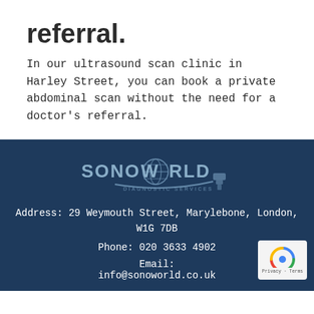referral.
In our ultrasound scan clinic in Harley Street, you can book a private abdominal scan without the need for a doctor's referral.
[Figure (logo): SonoWorld Diagnostic Services logo — stylized globe with swoosh and ultrasound probe icon, text in light blue/grey on dark blue background]
Address: 29 Weymouth Street, Marylebone, London, W1G 7DB
Phone: 020 3633 4902
Email: info@sonoworld.co.uk